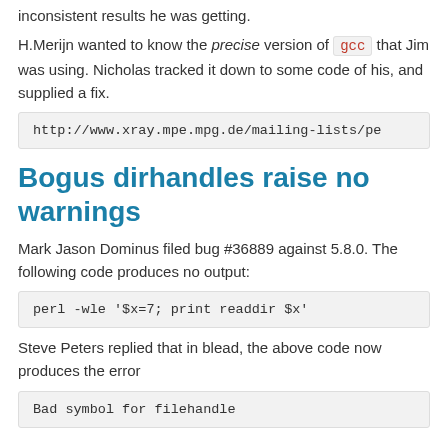inconsistent results he was getting.
H.Merijn wanted to know the precise version of gcc that Jim was using. Nicholas tracked it down to some code of his, and supplied a fix.
http://www.xray.mpe.mpg.de/mailing-lists/pe
Bogus dirhandles raise no warnings
Mark Jason Dominus filed bug #36889 against 5.8.0. The following code produces no output:
perl -wle '$x=7; print readdir $x'
Steve Peters replied that in blead, the above code now produces the error
Bad symbol for filehandle